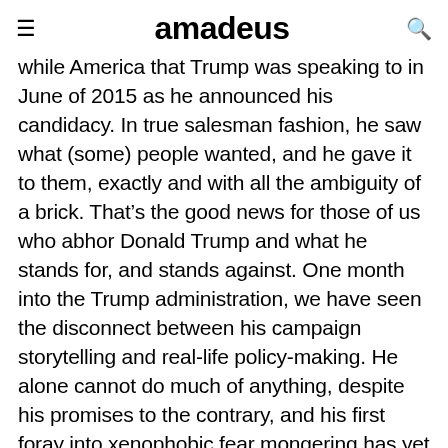amadeus
while America that Trump was speaking to in June of 2015 as he announced his candidacy. In true salesman fashion, he saw what (some) people wanted, and he gave it to them, exactly and with all the ambiguity of a brick. That’s the good news for those of us who abhor Donald Trump and what he stands for, and stands against. One month into the Trump administration, we have seen the disconnect between his campaign storytelling and real-life policy-making. He alone cannot do much of anything, despite his promises to the contrary, and his first foray into xenophobic fear mongering has yet to meet a judge who deems it constitutional.